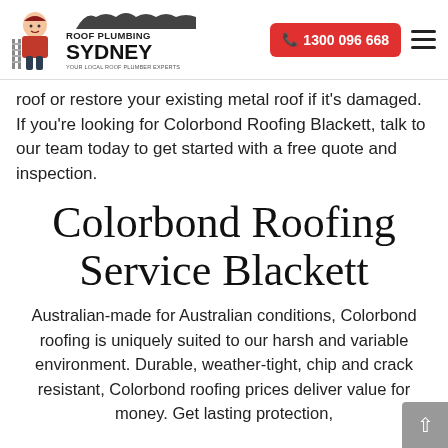[Figure (logo): Roof Plumbing Sydney logo with cartoon plumber figure and text 'Roof Plumbing Sydney - Your Local Roof Plumber Experts']
[Figure (other): Red phone button with '1300 096 668' and hamburger menu icon]
roof or restore your existing metal roof if it's damaged. If you're looking for Colorbond Roofing Blackett, talk to our team today to get started with a free quote and inspection.
Colorbond Roofing Service Blackett
Australian-made for Australian conditions, Colorbond roofing is uniquely suited to our harsh and variable environment. Durable, weather-tight, chip and crack resistant, Colorbond roofing prices deliver value for money. Get lasting protection,